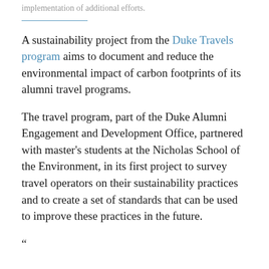implementation of additional efforts.
A sustainability project from the Duke Travels program aims to document and reduce the environmental impact of carbon footprints of its alumni travel programs.
The travel program, part of the Duke Alumni Engagement and Development Office, partnered with master's students at the Nicholas School of the Environment, in its first project to survey travel operators on their sustainability practices and to create a set of standards that can be used to improve these practices in the future.
“Something about a survey or quote…